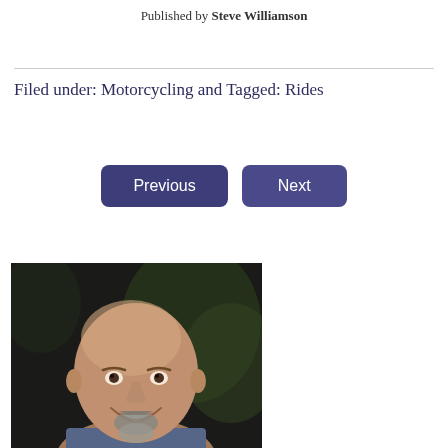Published by Steve Williamson
Filed under: Motorcycling and Tagged: Rides
[Figure (other): Navigation buttons: Previous and Next]
[Figure (photo): Portrait photo of a bald smiling man with a goatee beard, dark background with greenery]